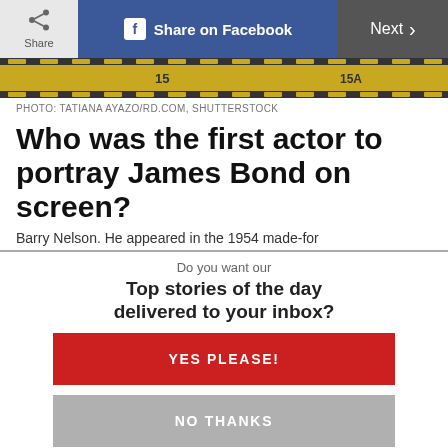Share | Share on Facebook | Next
[Figure (photo): Film strip / movie reel image with yellow and black frames showing '15' and '15A' markers]
PHOTO: TATIANA AYAZO/RD.COM, SHUTTERSTOCK
Who was the first actor to portray James Bond on screen?
Barry Nelson. He appeared in the 1954 made-for...
Do you want our
Top stories of the day delivered to your inbox?
YES PLEASE!
NO THANKS